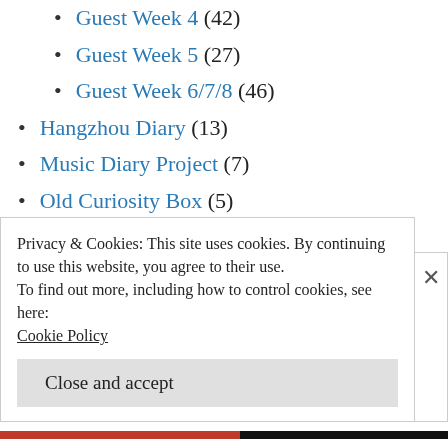Guest Week 4 (42)
Guest Week 5 (27)
Guest Week 6/7/8 (46)
Hangzhou Diary (13)
Music Diary Project (7)
Old Curiosity Box (5)
Post of the Week (13)
Questions (12)
Randomising the record collection (29)
Readership Survey (9)
Shaggy Blog Stories (16)
Privacy & Cookies: This site uses cookies. By continuing to use this website, you agree to their use.
To find out more, including how to control cookies, see here:
Cookie Policy
Close and accept